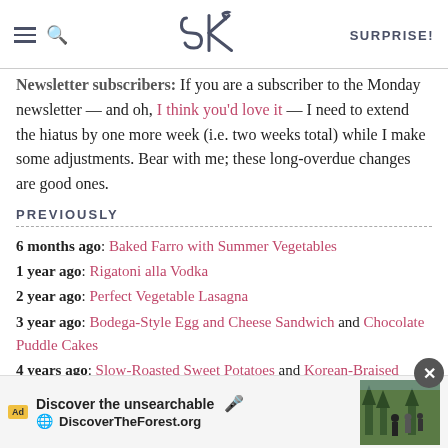SK | SURPRISE!
Newsletter subscribers: If you are a subscriber to the Monday newsletter — and oh, I think you'd love it — I need to extend the hiatus by one more week (i.e. two weeks total) while I make some adjustments. Bear with me; these long-overdue changes are good ones.
PREVIOUSLY
6 months ago: Baked Farro with Summer Vegetables
1 year ago: Rigatoni alla Vodka
2 year ago: Perfect Vegetable Lasagna
3 year ago: Bodega-Style Egg and Cheese Sandwich and Chocolate Puddle Cakes
4 years ago: Slow-Roasted Sweet Potatoes and Korean-Braised Short Ribs
5 years a...
6 years a... and Sour
[Figure (screenshot): Advertisement overlay: 'Discover the unsearchable' / DiscoverTheForest.org with forest photo and close button]